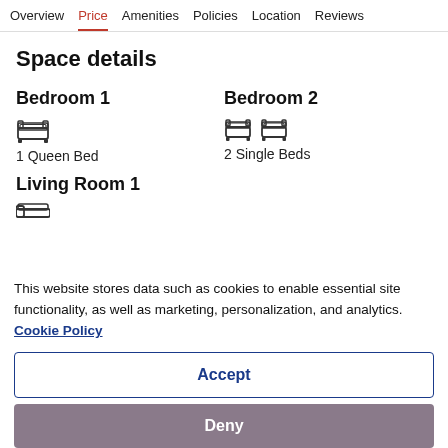Overview  Price  Amenities  Policies  Location  Reviews
Space details
Bedroom 1
1 Queen Bed
Bedroom 2
2 Single Beds
Living Room 1
This website stores data such as cookies to enable essential site functionality, as well as marketing, personalization, and analytics. Cookie Policy
Accept
Deny